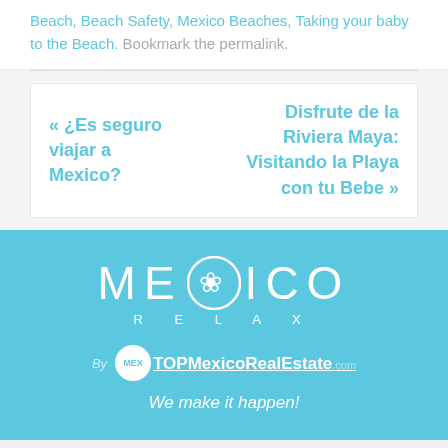Beach, Beach Safety, Mexico Beaches, Taking your baby to the Beach. Bookmark the permalink.
« ¿Es seguro viajar a Mexico?
Disfrute de la Riviera Maya: Visitando la Playa con tu Bebe »
[Figure (logo): Mexico Relax logo with decorative icon, and TOPMexicoRealEstate.com logo with tagline 'We make it happen!']